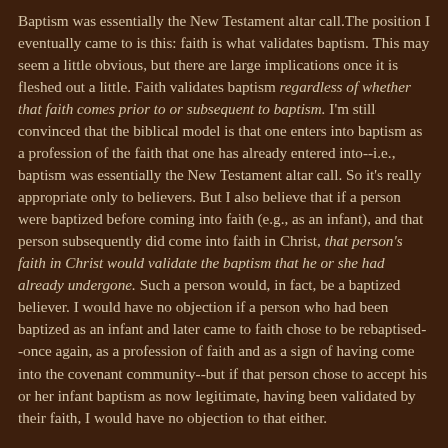Baptism was essentially the New Testament altar call.The position I eventually came to is this: faith is what validates baptism. This may seem a little obvious, but there are large implications once it is fleshed out a little. Faith validates baptism regardless of whether that faith comes prior to or subsequent to baptism. I'm still convinced that the biblical model is that one enters into baptism as a profession of the faith that one has already entered into--i.e., baptism was essentially the New Testament altar call. So it's really appropriate only to believers. But I also believe that if a person were baptized before coming into faith (e.g., as an infant), and that person subsequently did come into faith in Christ, that person's faith in Christ would validate the baptism that he or she had already undergone. Such a person would, in fact, be a baptized believer. I would have no objection if a person who had been baptized as an infant and later came to faith chose to be rebaptised--once again, as a profession of faith and as a sign of having come into the covenant community--but if that person chose to accept his or her infant baptism as now legitimate, having been validated by their faith, I would have no objection to that either.

So as a pastor, I would only baptize those who had come to faith. As a father, I have only allowed my children to be baptized when